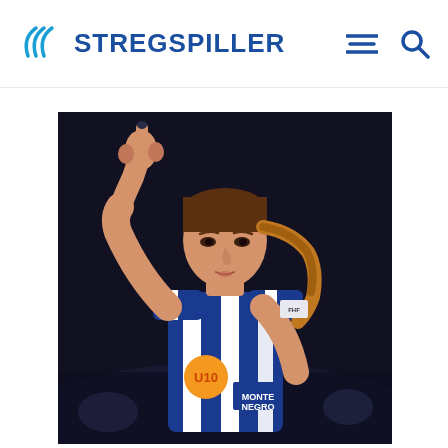STREGSPILLER
[Figure (photo): Female handball player in blue and white striped jersey pointing one finger up, with ponytail, blurred crowd background]